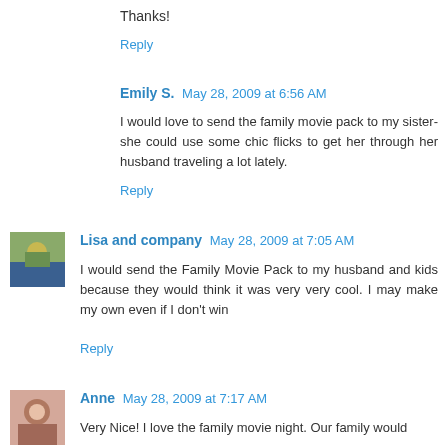Thanks!
Reply
Emily S.  May 28, 2009 at 6:56 AM
I would love to send the family movie pack to my sister- she could use some chic flicks to get her through her husband traveling a lot lately.
Reply
Lisa and company  May 28, 2009 at 7:05 AM
I would send the Family Movie Pack to my husband and kids because they would think it was very very cool. I may make my own even if I don't win
Reply
Anne  May 28, 2009 at 7:17 AM
Very Nice! I love the family movie night. Our family would